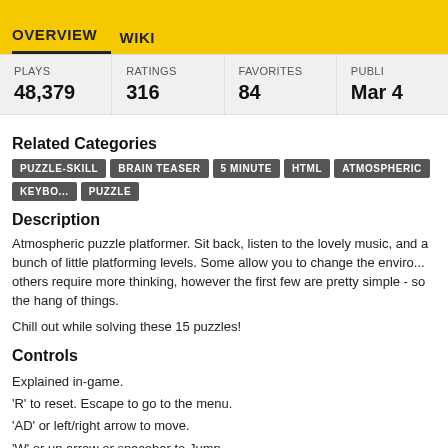OVERVIEW   WIKI
| PLAYS | RATINGS | FAVORITES | PUBLI... |
| --- | --- | --- | --- |
| 48,379 | 316 | 84 | Mar 4 |
Related Categories
PUZZLE-SKILL  BRAIN TEASER  5 MINUTE  HTML  ATMOSPHERIC  KEYBO...  PUZZLE
Description
Atmospheric puzzle platformer. Sit back, listen to the lovely music, and a bunch of little platforming levels. Some allow you to change the enviro... others require more thinking, however the first few are pretty simple - so the hang of things.
Chill out while solving these 15 puzzles!
Controls
Explained in-game.
'R' to reset. Escape to go to the menu.
'AD' or left/right arrow to move.
'W' or up arrow or spacebar to Jump.